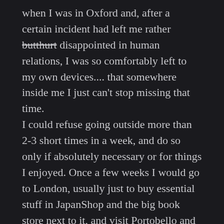when I was in Oxford and, after a certain incident had left me rather butthurt disappointed in human relations, I was so comfortably left to my own devices.... that somewhere inside me I just can't stop missing that time.
I could refuse going outside more than 2-3 short times in a week, and do so only if absolutely necessary or for things I enjoyed. Once a few weeks I would go to London, usually just to buy essential stuff in JapanShop and the big book store next to it, and visit Portobello and Electric Cinema (seriously, I'd fly to London once a few months just to visit it, if I could) and come back happy and content. Even if it was lonenly and I wished I could do it with someone who would enjoy doing it with me, I still enjoyed it very much, all the quiet walks